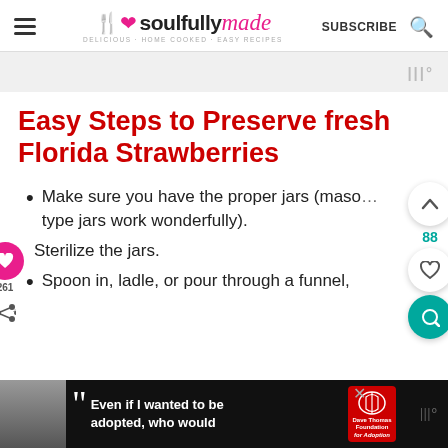soulfully made | SUBSCRIBE
Easy Steps to Preserve fresh Florida Strawberries
Make sure you have the proper jars (mason type jars work wonderfully).
Sterilize the jars.
Spoon in, ladle, or pour through a funnel,
Even if I wanted to be adopted, who would | Dave Thomas Foundation for Adoption